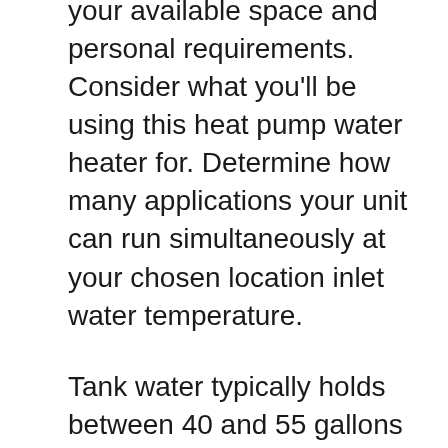your available space and personal requirements. Consider what you'll be using this heat pump water heater for. Determine how many applications your unit can run simultaneously at your chosen location inlet water temperature.
Tank water typically holds between 40 and 55 gallons but can also hold more. The ideal size depends on how many people reside in your home and your peak water usage patterns.
Smaller capacity options include the EcoSmart ECO 11, Stiebel Eltron 224199 and Rheem RTGH-95DVLN. The EcoSmart ECO 11 offers the highest GPM rating of 9.5, so it's is perfect for a large family using multiple